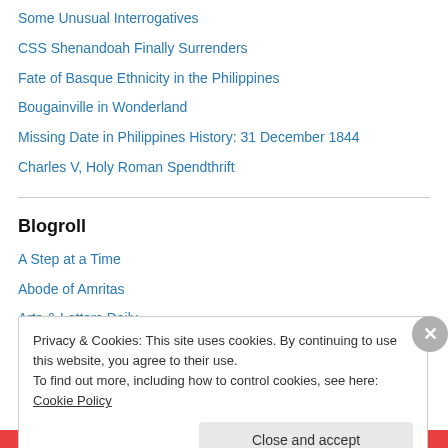Some Unusual Interrogatives
CSS Shenandoah Finally Surrenders
Fate of Basque Ethnicity in the Philippines
Bougainville in Wonderland
Missing Date in Philippines History: 31 December 1844
Charles V, Holy Roman Spendthrift
Blogroll
A Step at a Time
Abode of Amritas
Arts & Letters Daily
Privacy & Cookies: This site uses cookies. By continuing to use this website, you agree to their use.
To find out more, including how to control cookies, see here: Cookie Policy
Close and accept